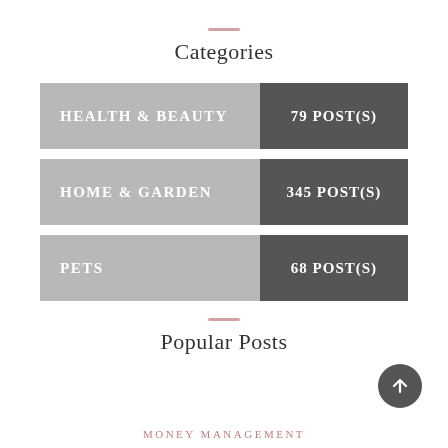Categories
| Category | Count |
| --- | --- |
| HEALTH & BEAUTY | 79 POST(S) |
| HOME & GARDEN | 345 POST(S) |
| PETS | 68 POST(S) |
Popular Posts
MONEY MANAGEMENT